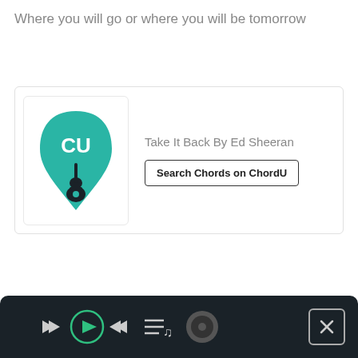Where you will go or where you will be tomorrow
[Figure (screenshot): ChordU app logo - teal guitar pick shape with 'CU' text and guitar silhouette]
Take It Back By Ed Sheeran
Search Chords on ChordU
[Figure (screenshot): Music player bar at bottom with rewind, play, fast-forward, playlist, album art icons and a close button]